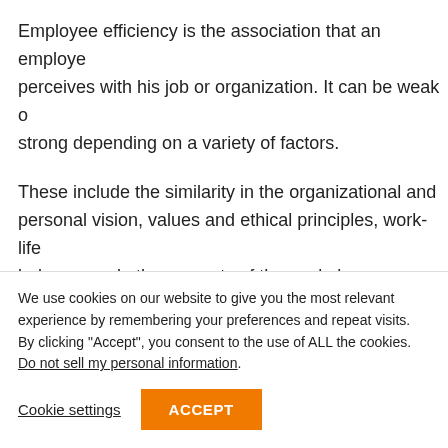Employee efficiency is the association that an employee perceives with his job or organization. It can be weak or strong depending on a variety of factors.
These include the similarity in the organizational and personal vision, values and ethical principles, work-life balance, and other aspects of the workplace.
Employees who experience a strong level of engagement...
We use cookies on our website to give you the most relevant experience by remembering your preferences and repeat visits. By clicking "Accept", you consent to the use of ALL the cookies.
Do not sell my personal information.